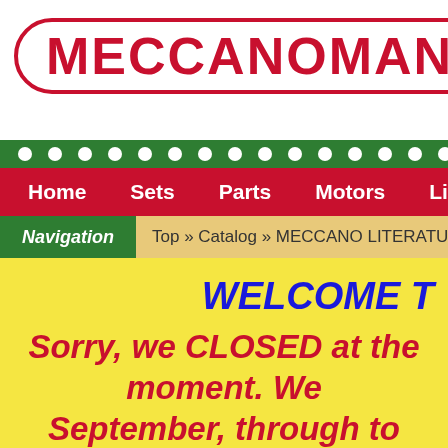[Figure (logo): MECCANOMAN logo in red text with rounded rectangle border]
Navigation dots bar (green with white dots)
Home | Sets | Parts | Motors | Literature | Bayko
Navigation | Top » Catalog » MECCANO LITERATURE
WELCOME T
Sorry, we CLOSED at the moment. We September, through to
CHRISTMAS IS COMING; Spen
Add £7.50 worth of good useful M
LOOK OUT FOR: "Daves "LOTS", "TREASUR
quality"